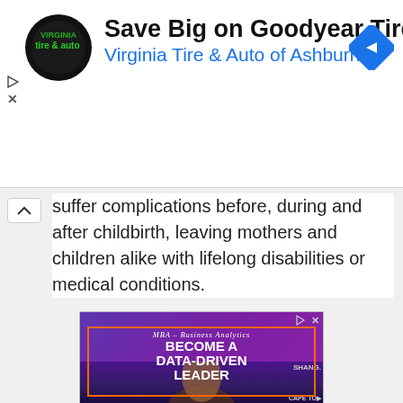[Figure (screenshot): Advertisement banner for Virginia Tire & Auto of Ashburn featuring Goodyear Tires promotion with circular logo and blue navigation arrow diamond icon]
suffer complications before, during and after childbirth, leaving mothers and children alike with lifelong disabilities or medical conditions.
[Figure (screenshot): Advertisement for MBA Business Analytics program with text 'BECOME A DATA-DRIVEN LEADER' on purple background with photo of smiling woman]